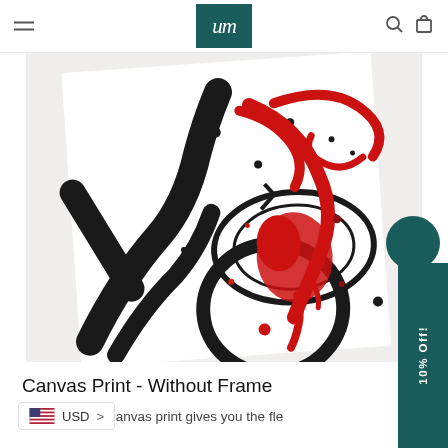Navigation header with hamburger menu, logo (tm), search and cart icons
[Figure (photo): Abstract canvas print artwork with bold black brush strokes and red paint splatters on white background, shown as a slightly tilted canvas]
Canvas Print - Without Frame
Our unframed canvas print gives you the flexibility to display prints in your own unique style and match them with your decor.
USD >
10% Off!